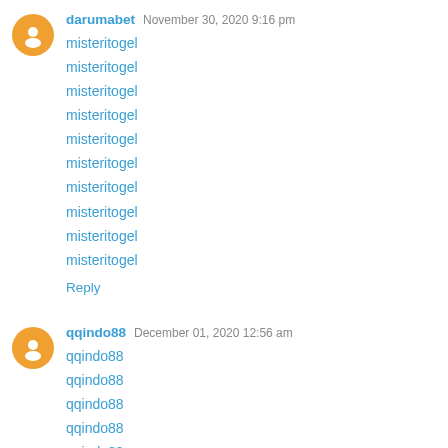darumabet November 30, 2020 9:16 pm
misteritogel
misteritogel
misteritogel
misteritogel
misteritogel
misteritogel
misteritogel
misteritogel
misteritogel
misteritogel
Reply
qqindo88 December 01, 2020 12:56 am
qqindo88
qqindo88
qqindo88
qqindo88
qqindo88
qqindo88